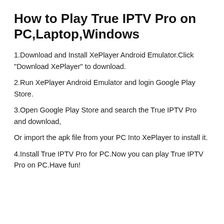How to Play True IPTV Pro on PC,Laptop,Windows
1.Download and Install XePlayer Android Emulator.Click "Download XePlayer" to download.
2.Run XePlayer Android Emulator and login Google Play Store.
3.Open Google Play Store and search the True IPTV Pro and download,
Or import the apk file from your PC Into XePlayer to install it.
4.Install True IPTV Pro for PC.Now you can play True IPTV Pro on PC.Have fun!